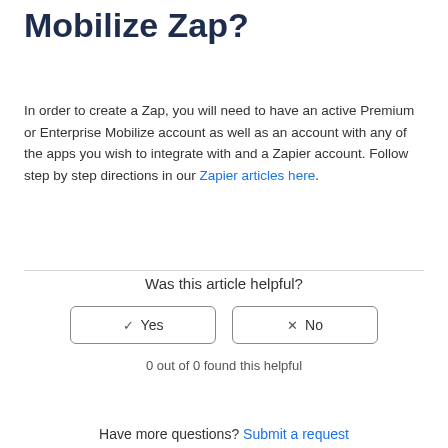Mobilize Zap?
In order to create a Zap, you will need to have an active Premium or Enterprise Mobilize account as well as an account with any of the apps you wish to integrate with and a Zapier account. Follow step by step directions in our Zapier articles here.
Was this article helpful?
✓ Yes   × No
0 out of 0 found this helpful
Have more questions? Submit a request